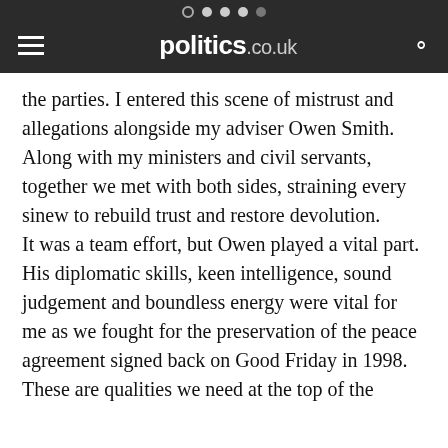politics.co.uk
the parties. I entered this scene of mistrust and allegations alongside my adviser Owen Smith. Along with my ministers and civil servants, together we met with both sides, straining every sinew to rebuild trust and restore devolution.
It was a team effort, but Owen played a vital part. His diplomatic skills, keen intelligence, sound judgement and boundless energy were vital for me as we fought for the preservation of the peace agreement signed back on Good Friday in 1998.
These are qualities we need at the top of the